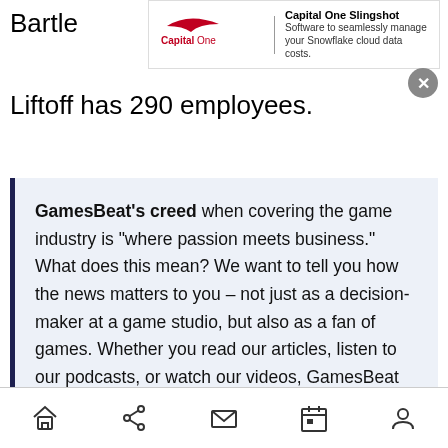Bartle
[Figure (screenshot): Capital One Slingshot advertisement banner with Capital One Software logo on the left, vertical divider, and text 'Capital One Slingshot - Software to seamlessly manage your Snowflake cloud data costs.' with an X close button.]
Liftoff has 290 employees.
GamesBeat's creed when covering the game industry is "where passion meets business." What does this mean? We want to tell you how the news matters to you – not just as a decision-maker at a game studio, but also as a fan of games. Whether you read our articles, listen to our podcasts, or watch our videos, GamesBeat will help you learn about the industry and enjoy engaging with it. Learn more about membership.
Home | Share | Mail | Calendar | Profile — navigation bar icons